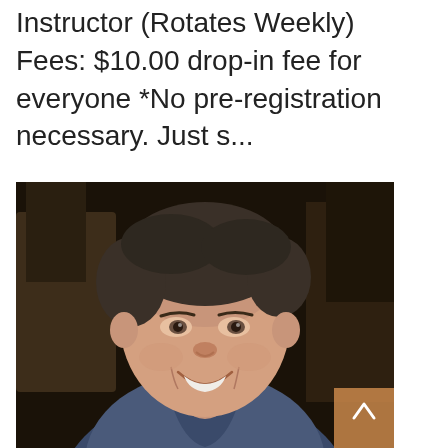Instructor (Rotates Weekly) Fees: $10.00 drop-in fee for everyone *No pre-registration necessary. Just s...
[Figure (photo): Portrait photo of a smiling middle-aged man with short dark hair wearing a blue shirt, seated indoors with chairs visible in the background.]